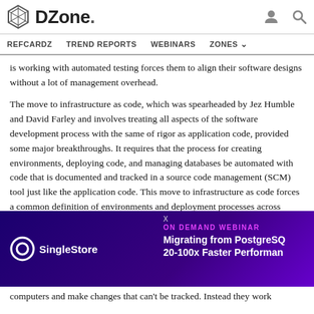DZone. [nav: REFCARDZ TREND REPORTS WEBINARS ZONES]
is working with automated testing forces them to align their software designs without a lot of management overhead.
The move to infrastructure as code, which was spearheaded by Jez Humble and David Farley and involves treating all aspects of the software development process with the same of rigor as application code, provided some major breakthroughs. It requires that the process for creating environments, deploying code, and managing databases be automated with code that is documented and tracked in a source code management (SCM) tool just like the application code. This move to infrastructure as code forces a common definition of environments and deployment processes across Development, QA, and Operations teams and ensures consistency on the path to production. It's agreed upon...to...Deployment...currently...
[Figure (screenshot): SingleStore ad overlay: ON DEMAND WEBINAR - Migrating from PostgreSQL 20-100x Faster Performance]
computers and make changes that can't be tracked. Instead they work